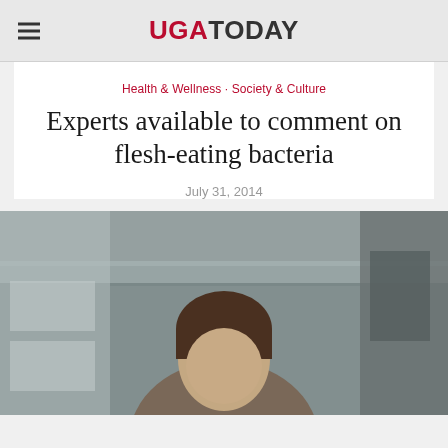UGA TODAY
Health & Wellness · Society & Culture
Experts available to comment on flesh-eating bacteria
July 31, 2014
[Figure (photo): Photo of a person in a laboratory or research facility setting, partial view showing the top of their head and shoulders with lab equipment and shelving visible in the background]